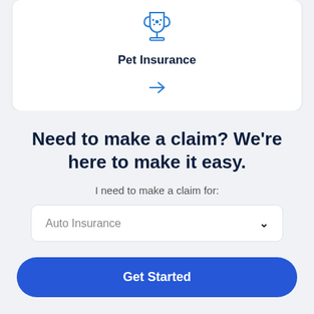[Figure (illustration): Blue trophy/cup icon with a paw print, representing pet insurance]
Pet Insurance
[Figure (illustration): Blue right-pointing arrow icon]
Need to make a claim? We're here to make it easy.
I need to make a claim for:
Auto Insurance
Get Started